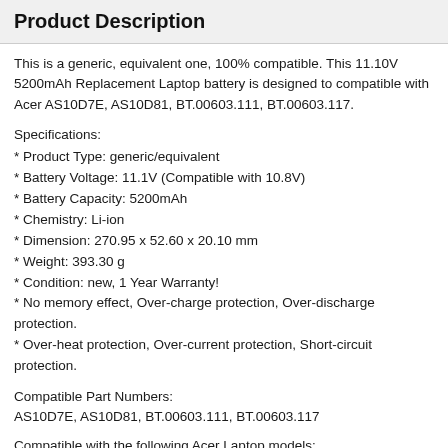Product Description
This is a generic, equivalent one, 100% compatible. This 11.10V 5200mAh Replacement Laptop battery is designed to compatible with Acer AS10D7E, AS10D81, BT.00603.111, BT.00603.117.
Specifications:
* Product Type: generic/equivalent
* Battery Voltage: 11.1V (Compatible with 10.8V)
* Battery Capacity: 5200mAh
* Chemistry: Li-ion
* Dimension: 270.95 x 52.60 x 20.10 mm
* Weight: 393.30 g
* Condition: new, 1 Year Warranty!
* No memory effect, Over-charge protection, Over-discharge protection.
* Over-heat protection, Over-current protection, Short-circuit protection.
Compatible Part Numbers:
AS10D7E, AS10D81, BT.00603.111, BT.00603.117
Compatible with the following Acer Laptop models:
Aspire 4250 Aspire 4250-E352G50MI Aspire 4250G Aspire 4250Z Aspire